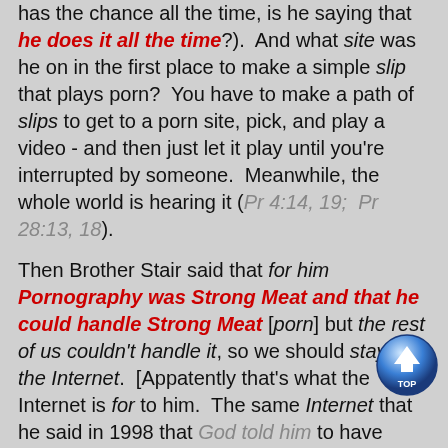has the chance all the time, is he saying that he does it all the time?).  And what site was he on in the first place to make a simple slip that plays porn?  You have to make a path of slips to get to a porn site, pick, and play a video - and then just let it play until you're interrupted by someone.  Meanwhile, the whole world is hearing it (Pr 4:14, 19;  Pr 28:13, 18).
Then Brother Stair said that for him Pornography was Strong Meat and that he could handle Strong Meat [porn] but the rest of us couldn't handle it, so we should stay off the Internet.  [Appatently that's what the Internet is for to him.  The same Internet that he said in 1998 that God told him to have nothing to do with.  It seems God does change His mind - unless it's about your witness on Bro Stair - then you're locked into that one.  He gets to change his witness on you [damning the leavers] - but you don't.] Apparently, this strong meat (pornography)